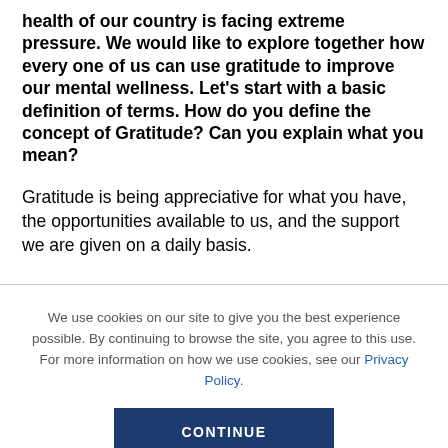health of our country is facing extreme pressure. We would like to explore together how every one of us can use gratitude to improve our mental wellness. Let's start with a basic definition of terms. How do you define the concept of Gratitude? Can you explain what you mean?
Gratitude is being appreciative for what you have, the opportunities available to us, and the support we are given on a daily basis.
We use cookies on our site to give you the best experience possible. By continuing to browse the site, you agree to this use. For more information on how we use cookies, see our Privacy Policy.
CONTINUE